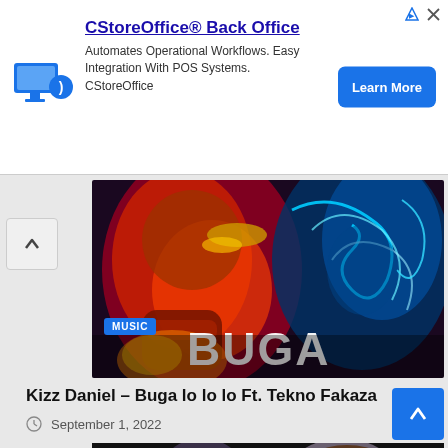[Figure (other): Advertisement banner for CStoreOffice Back Office showing blue monitor icon with text about automating operational workflows and a Learn More button]
[Figure (illustration): Colorful digital artwork showing two stylized figures — one in warm red/orange tones and one with blue glowing elements — with the word BUGA visible in large white letters. A MUSIC badge is overlaid in the bottom-left corner.]
Kizz Daniel – Buga lo lo lo Ft. Tekno Fakaza
September 1, 2022
[Figure (photo): Partial photo showing two people (a woman with dark hair and a man) appearing to face each other, with dark/black top portion visible.]